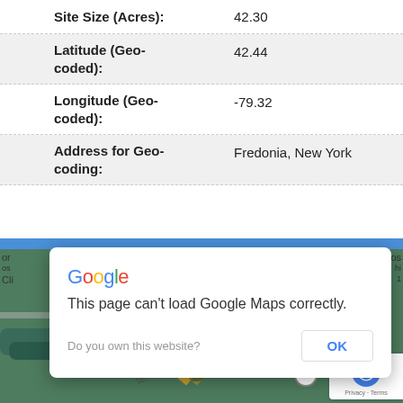| Field | Value |
| --- | --- |
| Site Size (Acres): | 42.30 |
| Latitude (Geo-coded): | 42.44 |
| Longitude (Geo-coded): | -79.32 |
| Address for Geo-coding: | Fredonia, New York |
[Figure (screenshot): Google Maps error dialog overlaid on a partially loaded satellite/map view of Fredonia, New York area. Dialog reads: 'Google — This page can't load Google Maps correctly. Do you own this website? [OK]'. Map shows green terrain, a yellow road, and a red location pin near the center.]